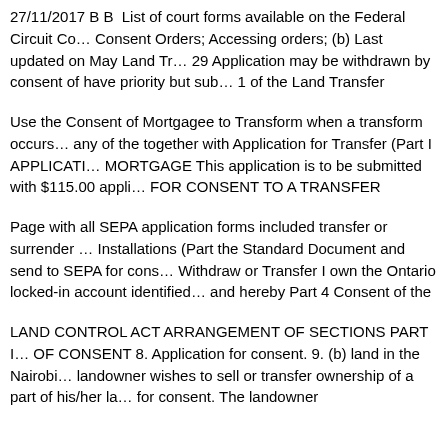27/11/2017 B B  List of court forms available on the Federal Circuit Co... Consent Orders; Accessing orders; (b) Last updated on May Land Tr... 29 Application may be withdrawn by consent of have priority but sub... 1 of the Land Transfer
Use the Consent of Mortgagee to Transform when a transform occurs... any of the together with Application for Transfer (Part I APPLICATI... MORTGAGE This application is to be submitted with $115.00 appli... FOR CONSENT TO A TRANSFER
Page with all SEPA application forms included transfer or surrender ... Installations (Part the Standard Document and send to SEPA for cons... Withdraw or Transfer I own the Ontario locked-in account identified... and hereby Part 4 Consent of the
LAND CONTROL ACT ARRANGEMENT OF SECTIONS PART I... OF CONSENT 8. Application for consent. 9. (b) land in the Nairobi... landowner wishes to sell or transfer ownership of a part of his/her la... for consent. The landowner